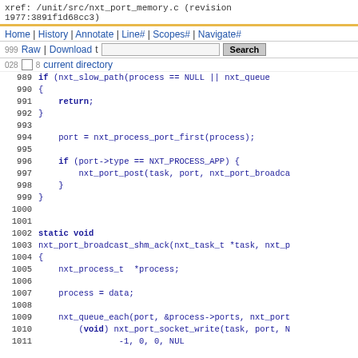xref: /unit/src/nxt_port_memory.c (revision 1977:3891f1d68cc3)
Home | History | Annotate | Line# | Scopes# | Navigate#
Raw | Download | Search
current directory
989   if (nxt_slow_path(process == NULL || nxt_queue
990   {
991       return;
992   }
993
994       port = nxt_process_port_first(process);
995
996       if (port->type == NXT_PROCESS_APP) {
997           nxt_port_post(task, port, nxt_port_broadca
998       }
999   }
1000
1001
1002   static void
1003   nxt_port_broadcast_shm_ack(nxt_task_t *task, nxt_p
1004   {
1005       nxt_process_t  *process;
1006
1007       process = data;
1008
1009       nxt_queue_each(port, &process->ports, nxt_port
1010           (void) nxt_port_socket_write(task, port, N
1011                   -1, 0, 0, NUL